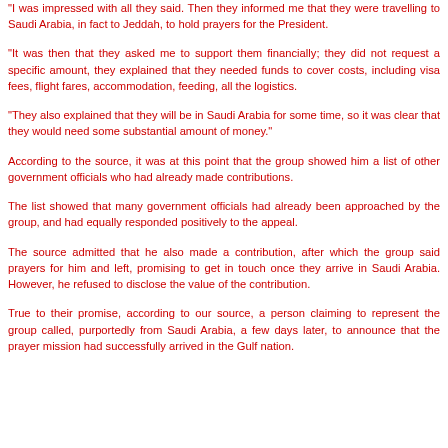"I was impressed with all they said. Then they informed me that they were travelling to Saudi Arabia, in fact to Jeddah, to hold prayers for the President.
"It was then that they asked me to support them financially; they did not request a specific amount, they explained that they needed funds to cover costs, including visa fees, flight fares, accommodation, feeding, all the logistics.
"They also explained that they will be in Saudi Arabia for some time, so it was clear that they would need some substantial amount of money."
According to the source, it was at this point that the group showed him a list of other government officials who had already made contributions.
The list showed that many government officials had already been approached by the group, and had equally responded positively to the appeal.
The source admitted that he also made a contribution, after which the group said prayers for him and left, promising to get in touch once they arrive in Saudi Arabia. However, he refused to disclose the value of the contribution.
True to their promise, according to our source, a person claiming to represent the group called, purportedly from Saudi Arabia, a few days later, to announce that the prayer mission had successfully arrived in the Gulf nation.